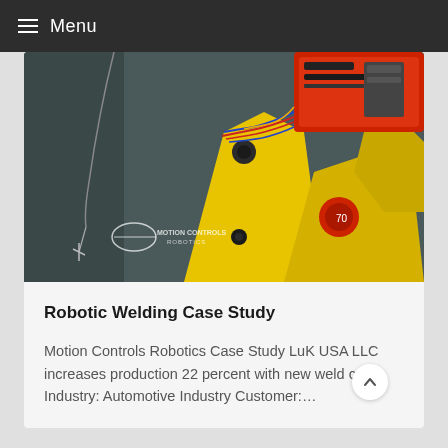Menu
[Figure (photo): Yellow industrial robotic welding arm with red motor housing, wires and cables visible, with Motion Controls Robotics logo watermark in bottom left corner]
Robotic Welding Case Study
Motion Controls Robotics Case Study LuK USA LLC increases production 22 percent with new weld cell Industry: Automotive Industry Customer:…